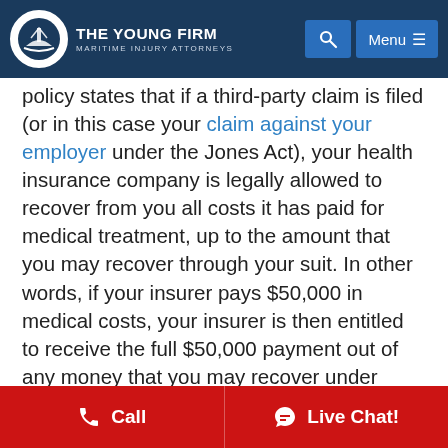The Young Firm — Maritime Injury Attorneys
policy states that if a third-party claim is filed (or in this case your claim against your employer under the Jones Act), your health insurance company is legally allowed to recover from you all costs it has paid for medical treatment, up to the amount that you may recover through your suit. In other words, if your insurer pays $50,000 in medical costs, your insurer is then entitled to receive the full $50,000 payment out of any money that you may recover under
Call   Live Chat!